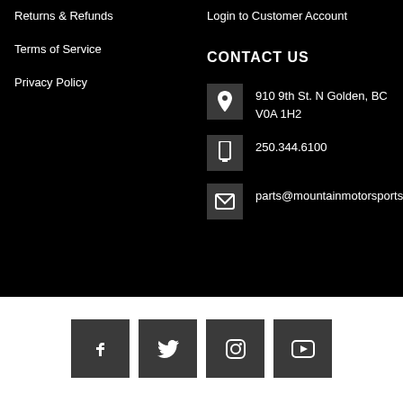Returns & Refunds
Terms of Service
Privacy Policy
Login to Customer Account
CONTACT US
910 9th St. N Golden, BC V0A 1H2
250.344.6100
parts@mountainmotorsports.c
[Figure (infographic): Social media icons: Facebook, Twitter, Instagram, YouTube]